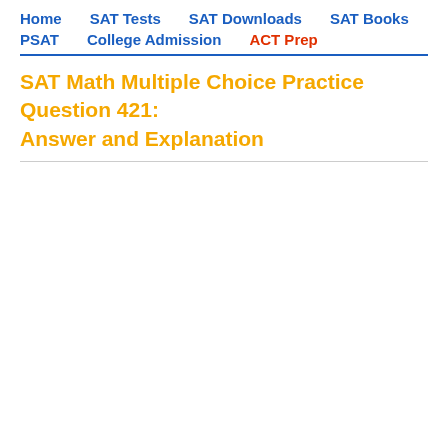Home   SAT Tests   SAT Downloads   SAT Books   PSAT   College Admission   ACT Prep
SAT Math Multiple Choice Practice Question 421: Answer and Explanation